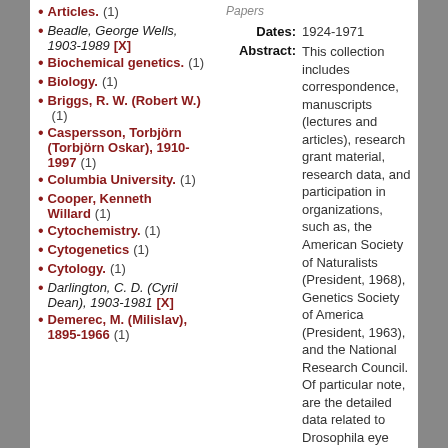Articles. (1)
Beadle, George Wells, 1903-1989 [X]
Biochemical genetics. (1)
Biology. (1)
Briggs, R. W. (Robert W.) (1)
Caspersson, Torbjörn (Torbjörn Oskar), 1910-1997 (1)
Columbia University. (1)
Cooper, Kenneth Willard (1)
Cytochemistry. (1)
Cytogenetics (1)
Cytology. (1)
Darlington, C. D. (Cyril Dean), 1903-1981 [X]
Demerec, M. (Milislav), 1895-1966 (1)
Dates: 1924-1971
Abstract: This collection includes correspondence, manuscripts (lectures and articles), research grant material, research data, and participation in organizations, such as, the American Society of Naturalists (President, 1968), Genetics Society of America (President, 1963), and the National Research Council. Of particular note, are the detailed data related to Drosophila eye pigment, and